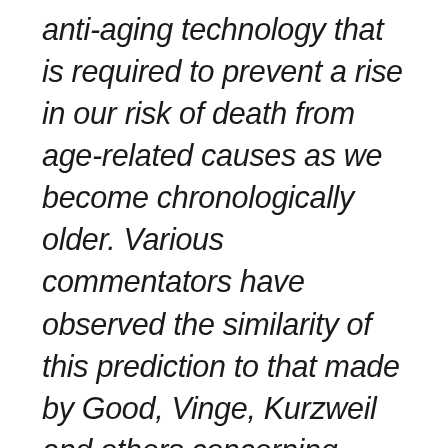anti-aging technology that is required to prevent a rise in our risk of death from age-related causes as we become chronologically older. Various commentators have observed the similarity of this prediction to that made by Good, Vinge, Kurzweil and others concerning technology in general (and, in particular, computer technology), which they have termed the ‘singularity.’ In this essay I compare and contrast